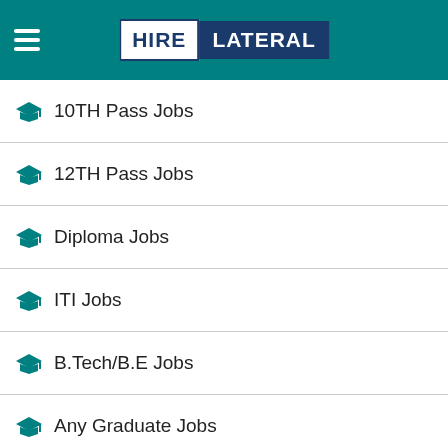HIRE LATERAL
10TH Pass Jobs
12TH Pass Jobs
Diploma Jobs
ITI Jobs
B.Tech/B.E Jobs
Any Graduate Jobs
B.Sc Jobs